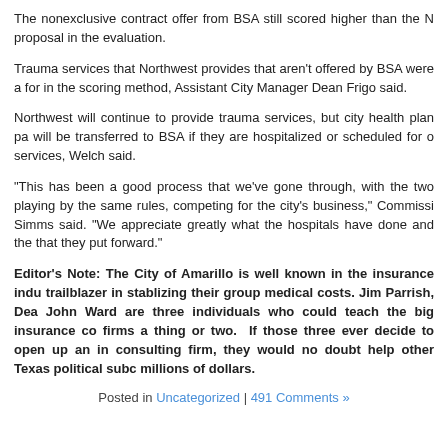The nonexclusive contract offer from BSA still scored higher than the N proposal in the evaluation.
Trauma services that Northwest provides that aren't offered by BSA were a for in the scoring method, Assistant City Manager Dean Frigo said.
Northwest will continue to provide trauma services, but city health plan pa will be transferred to BSA if they are hospitalized or scheduled for o services, Welch said.
“This has been a good process that we’ve gone through, with the two playing by the same rules, competing for the city’s business,” Commissi Simms said. “We appreciate greatly what the hospitals have done and the that they put forward.”
Editor’s Note: The City of Amarillo is well known in the insurance indu trailblazer in stablizing their group medical costs. Jim Parrish, Dea John Ward are three individuals who could teach the big insurance co firms a thing or two. If those three ever decide to open up an in consulting firm, they would no doubt help other Texas political subc millions of dollars.
Posted in Uncategorized | 491 Comments »